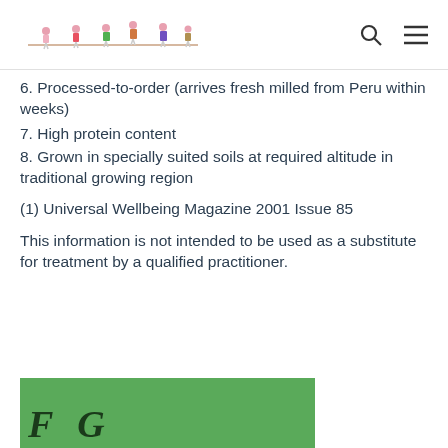[Website header with logo of illustrated people figures, search icon, and menu icon]
6. Processed-to-order (arrives fresh milled from Peru within weeks)
7. High protein content
8. Grown in specially suited soils at required altitude in traditional growing region
(1) Universal Wellbeing Magazine 2001 Issue 85
This information is not intended to be used as a substitute for treatment by a qualified practitioner.
[Figure (illustration): Bottom portion of a green banner/advertisement image with large dark italic text beginning with 'F' and 'G' visible]